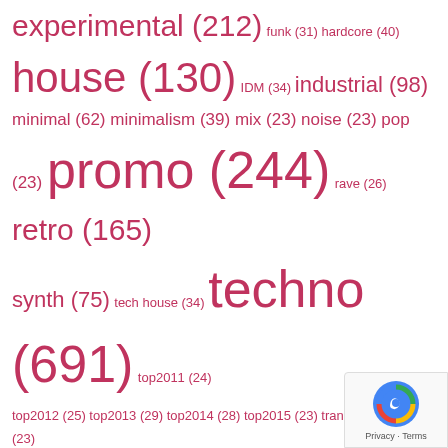experimental (212) funk (31) hardcore (40) house (130) IDM (34) industrial (98) minimal (62) minimalism (39) mix (23) noise (23) pop (23) promo (244) rave (26) retro (165) synth (75) tech house (34) techno (691) top2011 (24) top2012 (25) top2013 (29) top2014 (28) top2015 (23) trance (28) tribal (23) Uncategorized (30) wave (29)
ARCHIVES
Select Month
PAGES
About Terminal 313
Annual wrap-ups
2014 wrap-up